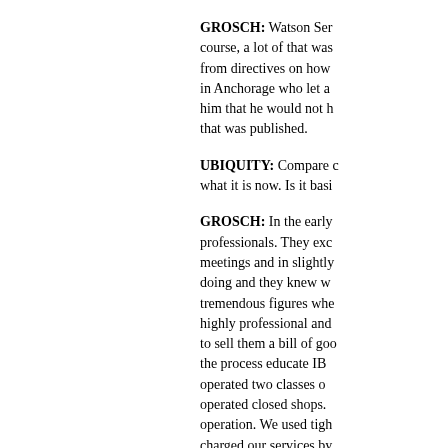GROSCH: Watson Ser... course, a lot of that was... from directives on how... in Anchorage who let a... him that he would not h... that was published.
UBIQUITY: Compare c... what it is now. Is it basi...
GROSCH: In the early... professionals. They exc... meetings and in slightly... doing and they knew w... tremendous figures whe... highly professional and... to sell them a bill of goo... the process educate IB... operated two classes o... operated closed shops.... operation. We used tigh... charged our services by...
UBIQUITY: And this gro...
GROSCH: The other cl... Rand Corporation, had... They ran what were cal...